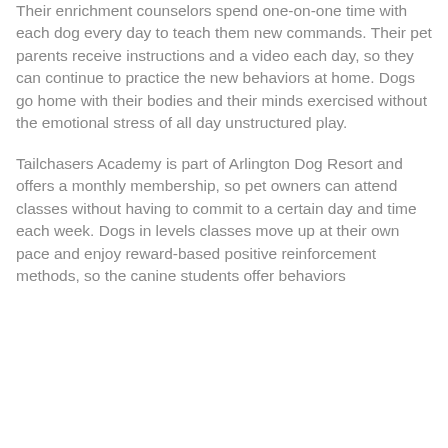Their enrichment counselors spend one-on-one time with each dog every day to teach them new commands. Their pet parents receive instructions and a video each day, so they can continue to practice the new behaviors at home. Dogs go home with their bodies and their minds exercised without the emotional stress of all day unstructured play.
Tailchasers Academy is part of Arlington Dog Resort and offers a monthly membership, so pet owners can attend classes without having to commit to a certain day and time each week. Dogs in levels classes move up at their own pace and enjoy reward-based positive reinforcement methods, so the canine students offer behaviors...